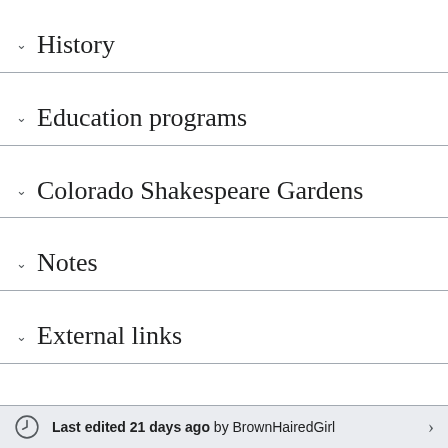History
Education programs
Colorado Shakespeare Gardens
Notes
External links
Last edited 21 days ago by BrownHairedGirl